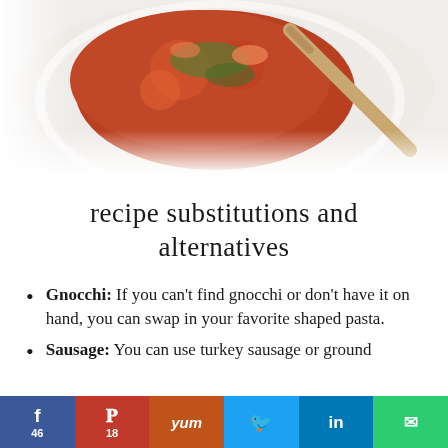[Figure (photo): A pan or bowl with tomato-based stew with herbs, with a wooden spoon, viewed from above on a white surface]
recipe substitutions and alternatives
Gnocchi: If you can't find gnocchi or don't have it on hand, you can swap in your favorite shaped pasta.
Sausage: You can use turkey sausage or ground
f 46 | Pinterest 18 | Yum | Twitter | in | Email